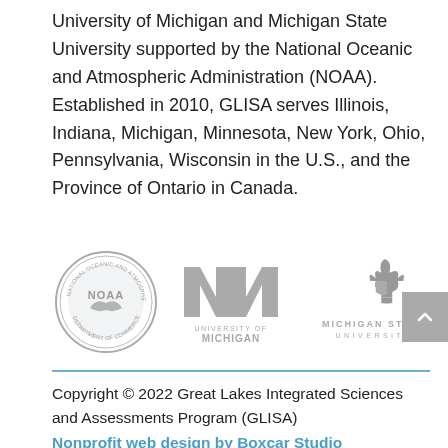University of Michigan and Michigan State University supported by the National Oceanic and Atmospheric Administration (NOAA). Established in 2010, GLISA serves Illinois, Indiana, Michigan, Minnesota, New York, Ohio, Pennsylvania, Wisconsin in the U.S., and the Province of Ontario in Canada.
[Figure (logo): Three logos in a row: NOAA circular seal, University of Michigan block M with text, Michigan State University Spartan helmet with text]
Copyright © 2022 Great Lakes Integrated Sciences and Assessments Program (GLISA)
Nonprofit web design by Boxcar Studio